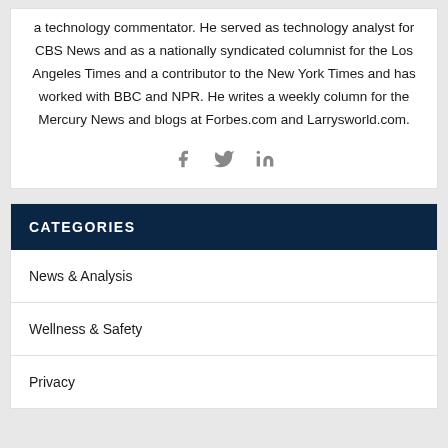a technology commentator. He served as technology analyst for CBS News and as a nationally syndicated columnist for the Los Angeles Times and a contributor to the New York Times and has worked with BBC and NPR. He writes a weekly column for the Mercury News and blogs at Forbes.com and Larrysworld.com.
[Figure (other): Social media icons: Facebook, Twitter, LinkedIn]
CATEGORIES
News & Analysis
Wellness & Safety
Privacy